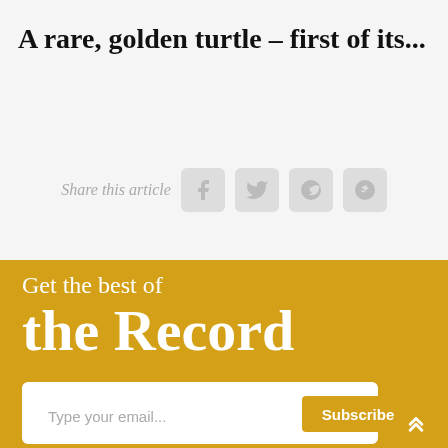A rare, golden turtle – first of its...
Share this article
Get the best of
the Record
Type your email...
Subscribe